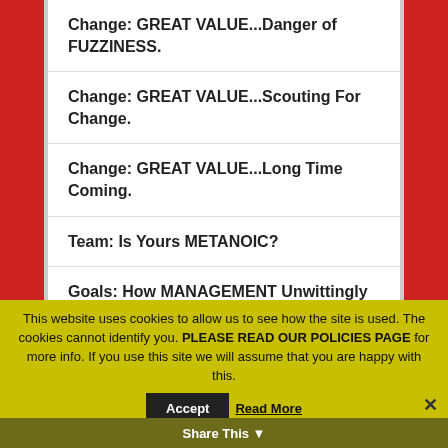Change: GREAT VALUE...Danger of FUZZINESS.
Change: GREAT VALUE...Scouting For Change.
Change: GREAT VALUE...Long Time Coming.
Team: Is Yours METANOIC?
Goals: How MANAGEMENT Unwittingly Can Undermine.
Goals: Fuzzy and Futuristic.
Goals: (partially visible)
This website uses cookies to allow us to see how the site is used. The cookies cannot identify you. PLEASE READ OUR POLICIES PAGE for more info. If you use this site we will assume that you are happy with this.
Share This